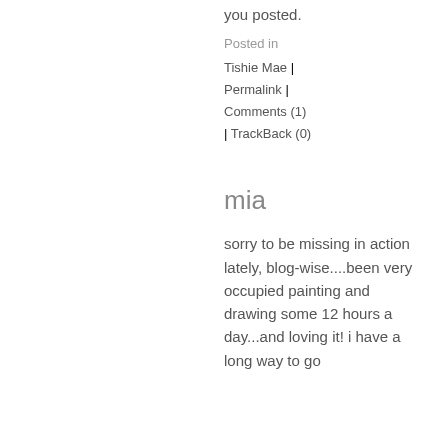you posted.
Posted in
Tishie Mae | Permalink | Comments (1) | TrackBack (0)
mia
sorry to be missing in action lately, blog-wise....been very occupied painting and drawing some 12 hours a day...and loving it! i have a long way to go